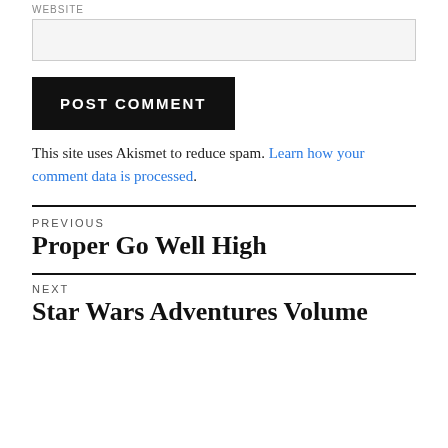[Figure (other): Website text input field (empty, light gray background)]
POST COMMENT
This site uses Akismet to reduce spam. Learn how your comment data is processed.
PREVIOUS
Proper Go Well High
NEXT
Star Wars Adventures Volume